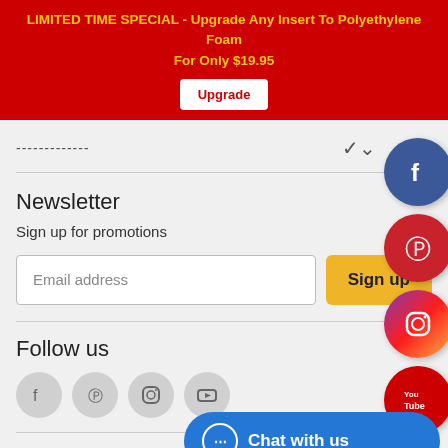LIMITED TIME SPECIAL - Upgrade Any Insert To Polyethylene Foam For Only $19.95 | Upgrade
------------
Newsletter
Sign up for promotions
Email address | Sign up
Follow us
[Figure (infographic): Four social media icon circles: Facebook, Pinterest, Instagram, YouTube — small grey versions in footer]
[Figure (infographic): Four large social media icon circles on right side: Facebook (blue), Pinterest (red), Instagram (gradient), YouTube (red)]
Chat with us